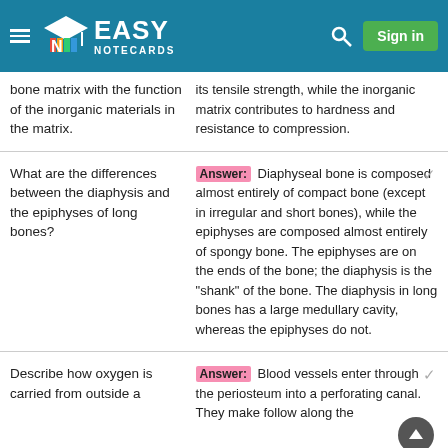Easy Notecards
bone matrix with the function of the inorganic materials in the matrix.
Answer: its tensile strength, while the inorganic matrix contributes to hardness and resistance to compression.
What are the differences between the diaphysis and the epiphyses of long bones?
Answer: Diaphyseal bone is composed almost entirely of compact bone (except in irregular and short bones), while the epiphyses are composed almost entirely of spongy bone. The epiphyses are on the ends of the bone; the diaphysis is the "shank" of the bone. The diaphysis in long bones has a large medullary cavity, whereas the epiphyses do not.
Describe how oxygen is carried from outside a
Answer: Blood vessels enter through the periosteum into a perforating canal. They make follow along the